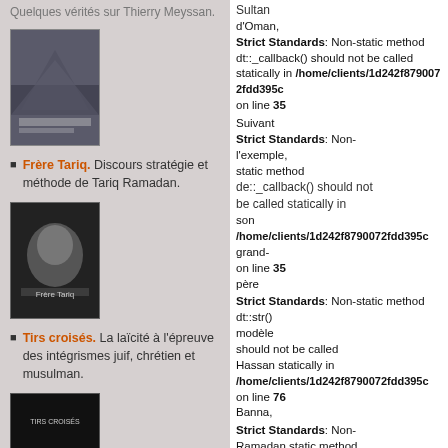Quelques vérités sur Thierry Meyssan.
[Figure (photo): Book cover image (dark mountain scene)]
Frère Tariq. Discours stratégie et méthode de Tariq Ramadan.
[Figure (photo): Book cover: Frère Tariq (man's face on dark background)]
Tirs croisés. La laïcité à l'épreuve des intégrismes juif, chrétien et musulman.
[Figure (photo): Book cover: Tirs Croisés (dark cover)]
Foi contre Choix. La droite religieuse Prolife aux Etats-Unis.
Strict Standards: Non-static method dt::_callback() should not be called statically in /home/clients/1d242f8790072fdd395c on line 35
Strict Standards: Non-static method de::_callback() should not be called statically in /home/clients/1d242f8790072fdd395c on line 35
Strict Standards: Non-static method dt::str() should not be called statically in /home/clients/1d242f8790072fdd395c on line 76
Strict Standards: Non-static method dt::_callback() should not be called statically in /home/clients/1d242f8790072fdd395c on line 35
Strict Standards: Non-static method dt::_callback() should not be called statically in /home/clients/1d242f8790072fdd395c on line 35